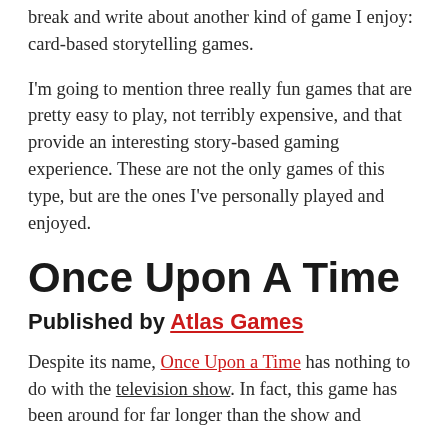break and write about another kind of game I enjoy: card-based storytelling games.
I'm going to mention three really fun games that are pretty easy to play, not terribly expensive, and that provide an interesting story-based gaming experience. These are not the only games of this type, but are the ones I've personally played and enjoyed.
Once Upon A Time
Published by Atlas Games
Despite its name, Once Upon a Time has nothing to do with the television show. In fact, this game has been around for far longer than the show and...